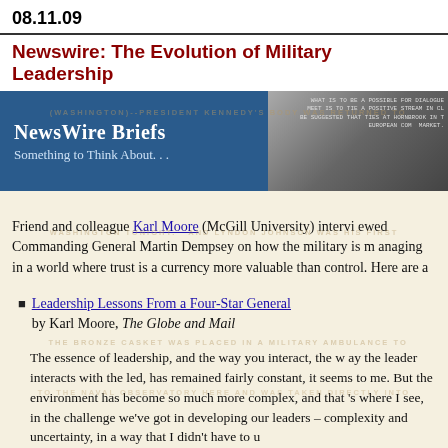08.11.09
Newswire: The Evolution of Military Leadership
[Figure (illustration): NewsWire Briefs banner image with blue left panel reading 'NewsWire Briefs / Something to Think About...' and a dark photographic right panel showing a vintage newswire/teletype machine with text ticker overlay]
Friend and colleague Karl Moore (McGill University) interviewed Commanding General Martin Dempsey on how the military is managing in a world where trust is a currency more valuable than control. Here are a
Leadership Lessons From a Four-Star General by Karl Moore, The Globe and Mail
The essence of leadership, and the way you interact, the way the leader interacts with the led, has remained fairly constant, it seems to me. But the environment has become so much more complex, and that's where I see, in the challenge we've got in developing our leaders – complexity and uncertainty, in a way that I didn't have to u